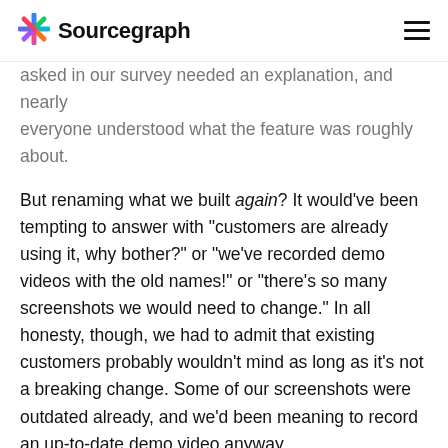Sourcegraph
asked in our survey needed an explanation, and nearly everyone understood what the feature was roughly about.
But renaming what we built again? It would've been tempting to answer with "customers are already using it, why bother?" or "we've recorded demo videos with the old names!" or "there's so many screenshots we would need to change." In all honesty, though, we had to admit that existing customers probably wouldn't mind as long as it's not a breaking change. Some of our screenshots were outdated already, and we'd been meaning to record an up-to-date demo video anyway.
So, rename it we did and followed it up with the first